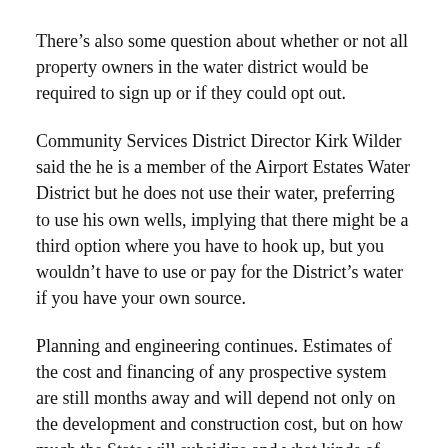There's also some question about whether or not all property owners in the water district would be required to sign up or if they could opt out.
Community Services District Director Kirk Wilder said the he is a member of the Airport Estates Water District but he does not use their water, preferring to use his own wells, implying that there might be a third option where you have to hook up, but you wouldn't have to use or pay for the District's water if you have your own source.
Planning and engineering continues. Estimates of the cost and financing of any prospective system are still months away and will depend not only on the development and construction cost, but on how much the State will subsidize and what kinds of loans and grants are available. The CSD's website